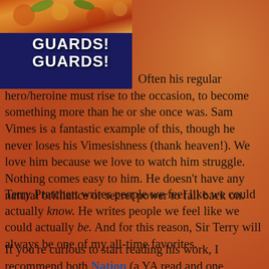[Figure (illustration): Book cover for 'Guards! Guards!' by Terry Pratchett — dark blue background with colorful fantasy artwork at top and white bold lettering 'GUARDS! GUARDS!' on a dark blue banner.]
Often his regular hero/heroine must rise to the occasion, to become something more than he or she once was. Sam Vimes is a fantastic example of this, though he never loses his Vimesishness (thank heaven!). We love him because we love to watch him struggle. Nothing comes easy to him. He doesn't have any natural brilliance or secret power to fall back on.
Terry Pratchett writes people we feel like we could actually know. He writes people we feel like we could actually be. And for this reason, Sir Terry will always be one of my all-time favorites.
If you're curious to start reading his work, I recommend both Nation (a YA read and one